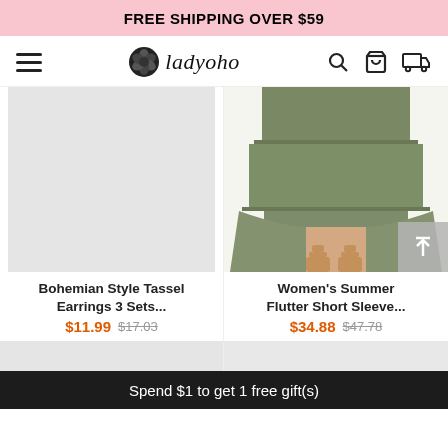FREE SHIPPING OVER $59
[Figure (logo): Ladyoho brand logo with rose icon and italic text 'ladyoho', plus hamburger menu on left and search/bag/delivery icons on right]
[Figure (photo): Left product: gray placeholder image for Bohemian Style Tassel Earrings 3 Sets]
Bohemian Style Tassel Earrings 3 Sets...
$11.99  $17.03
[Figure (photo): Right product: photo of woman wearing olive/sage green tiered flutter dress with strappy heels, showing lower half of dress]
Women's Summer Flutter Short Sleeve...
$34.88  $47.78
Spend $1 to get 1 free gift(s)